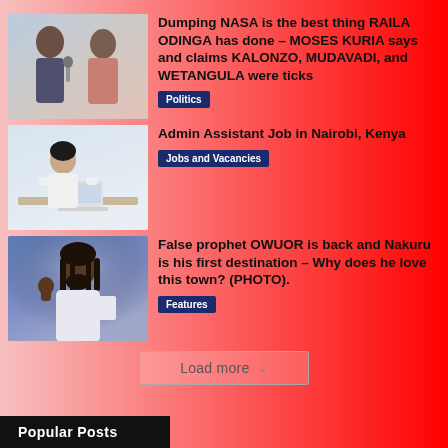[Figure (photo): Two men standing, one speaking into microphone, pink/checkered outfit visible]
Dumping NASA is the best thing RAILA ODINGA has done – MOSES KURIA says and claims KALONZO, MUDAVADI, and WETANGULA were ticks
Politics
[Figure (photo): Professional woman in white blouse sitting at desk with laptop]
Admin Assistant Job in Nairobi, Kenya
Jobs and Vacancies
[Figure (photo): Bearded man in white outfit with dreadlocks, appears to be a religious figure]
False prophet OWUOR is back and Nakuru is his first destination – Why does he love this town? (PHOTO).
Features
Load more
Popular Posts